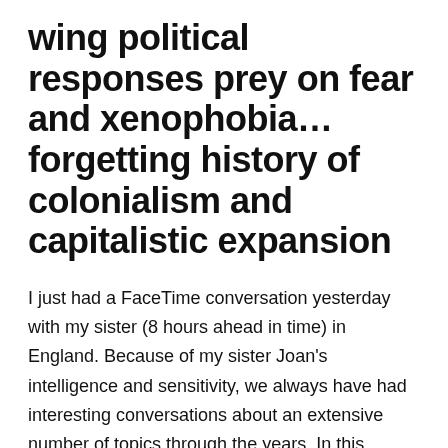wing political responses prey on fear and xenophobia... forgetting history of colonialism and capitalistic expansion
I just had a FaceTime conversation yesterday with my sister (8 hours ahead in time) in England. Because of my sister Joan's intelligence and sensitivity, we always have had interesting conversations about an extensive number of topics through the years. In this conversation, many different subjects came up. She and her husband live in York, England, 'whitey white' as she calls it. Living in England the past 5+ years – not in London where the metropolitan nature tends to be more tolerant and